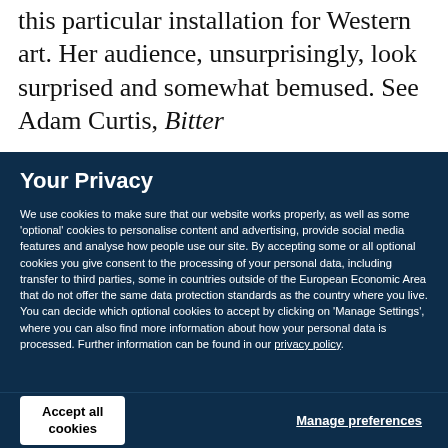this particular installation for Western art. Her audience, unsurprisingly, look surprised and somewhat bemused. See Adam Curtis, Bitter
Your Privacy
We use cookies to make sure that our website works properly, as well as some 'optional' cookies to personalise content and advertising, provide social media features and analyse how people use our site. By accepting some or all optional cookies you give consent to the processing of your personal data, including transfer to third parties, some in countries outside of the European Economic Area that do not offer the same data protection standards as the country where you live. You can decide which optional cookies to accept by clicking on 'Manage Settings', where you can also find more information about how your personal data is processed. Further information can be found in our privacy policy.
Accept all cookies
Manage preferences